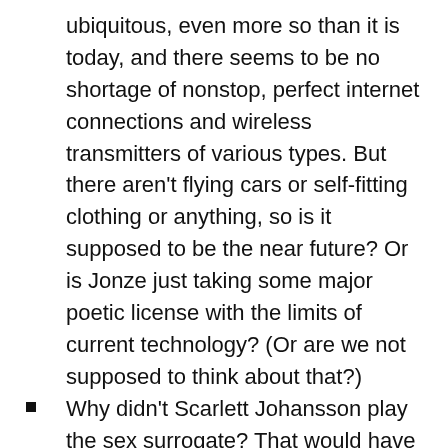ubiquitous, even more so than it is today, and there seems to be no shortage of nonstop, perfect internet connections and wireless transmitters of various types. But there aren't flying cars or self-fitting clothing or anything, so is it supposed to be the near future? Or is Jonze just taking some major poetic license with the limits of current technology? (Or are we not supposed to think about that?)
Why didn't Scarlett Johansson play the sex surrogate? That would have been hilarious.
Chris Pratt has always been a big guy but holy crap his arms were huge. They were bigger around than Joaquin Phoenix's head. He must have already been training for his superhero movie.
Making Amy Adams a blonde is a crime. Spike Jonze is now in my prison.